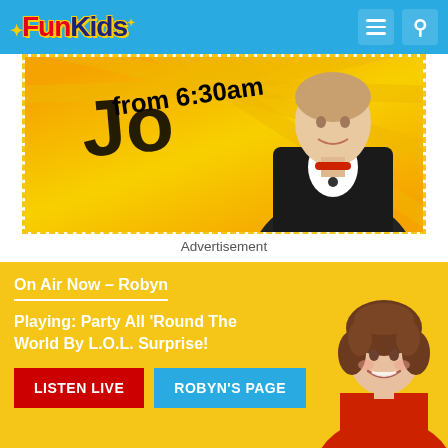Fun Kids
[Figure (photo): Advertisement image showing a person in black jacket over yellow sunburst background with text 'from 6:30am']
Advertisement
On Air Now – Robyn
Playing: Party All 'Round The World By L.O.L. Surprise!
LISTEN LIVE | ROBYN'S PAGE
[Figure (photo): Photo of Robyn, smiling woman with curly hair wearing red top]